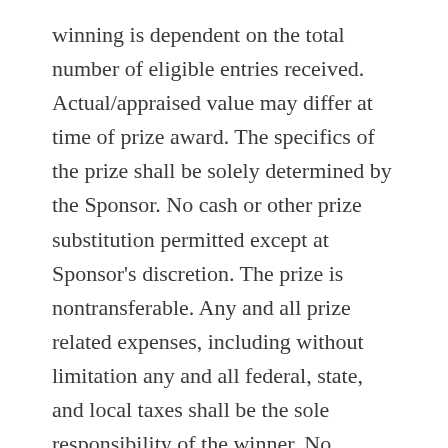winning is dependent on the total number of eligible entries received. Actual/appraised value may differ at time of prize award. The specifics of the prize shall be solely determined by the Sponsor. No cash or other prize substitution permitted except at Sponsor's discretion. The prize is nontransferable. Any and all prize related expenses, including without limitation any and all federal, state, and local taxes shall be the sole responsibility of the winner. No substitution of prize or transfer/assignment of prize to others or request for the cash equivalent by winners is permitted. Acceptance of prize constitutes permission for CANVIVA to use winner's name, likeness, and entry for purposes of advertising and how it will be further enumerated there